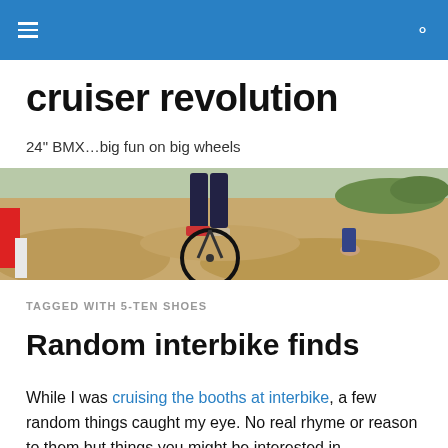cruiser revolution — navigation bar
cruiser revolution
24" BMX…big fun on big wheels
[Figure (photo): Panoramic photo of a person riding a BMX bike on a dirt track with sandy berms and vegetation in the background]
TAGGED WITH 5-TEN SHOES
Random interbike finds
While I was cruising the booths at interbike, a few random things caught my eye. No real rhyme or reason to them but things you might be interested in.